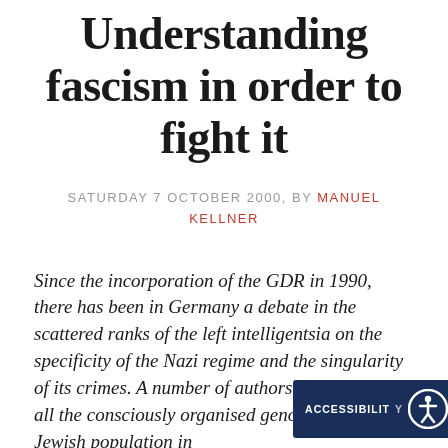Understanding fascism in order to fight it
SATURDAY 7 OCTOBER 2000, BY MANUEL KELLNER
Since the incorporation of the GDR in 1990, there has been in Germany a debate in the scattered ranks of the left intelligentsia on the specificity of the Nazi regime and the singularity of its crimes. A number of authors stress above all the consciously organised genocide of the Jewish population in